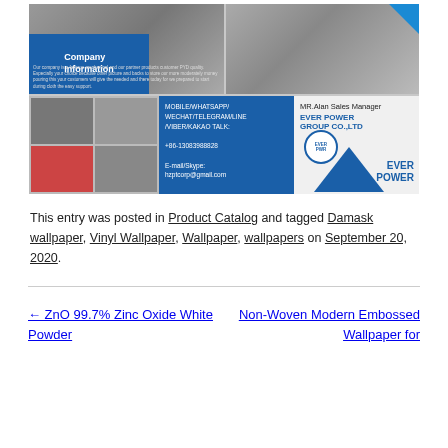[Figure (photo): Company information composite image showing manufacturing plant interior photos, company contact details including phone +86-13083988828 and email hzptcorp@gmail.com, and Ever Power Group Co., Ltd branding with MR. Alan Sales Manager]
This entry was posted in Product Catalog and tagged Damask wallpaper, Vinyl Wallpaper, Wallpaper, wallpapers on September 20, 2020.
← ZnO 99.7% Zinc Oxide White Powder
Non-Woven Modern Embossed Wallpaper for